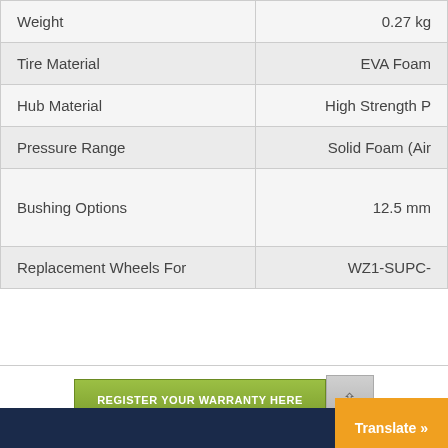| Property | Value |
| --- | --- |
| Weight | 0.27 kg |
| Tire Material | EVA Foam |
| Hub Material | High Strength P |
| Pressure Range | Solid Foam (Air |
| Bushing Options | 12.5 mm |
| Replacement Wheels For | WZ1-SUPC- |
REGISTER YOUR WARRANTY HERE
Translate »